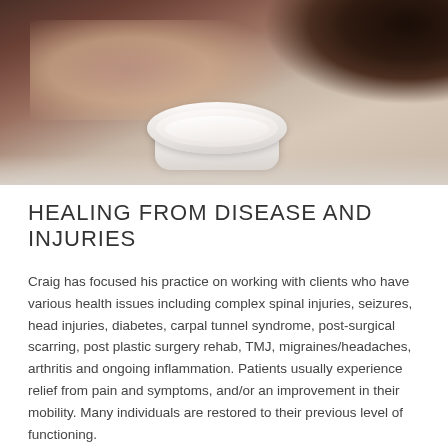[Figure (photo): A person lying face down on a massage table with a rolled white towel placed under their neck/head area, viewed from above and behind. The scene is softly lit in neutral tones.]
HEALING FROM DISEASE AND INJURIES
Craig has focused his practice on working with clients who have various health issues including complex spinal injuries, seizures, head injuries, diabetes, carpal tunnel syndrome, post-surgical scarring, post plastic surgery rehab, TMJ, migraines/headaches, arthritis and ongoing inflammation. Patients usually experience relief from pain and symptoms, and/or an improvement in their mobility. Many individuals are restored to their previous level of functioning.